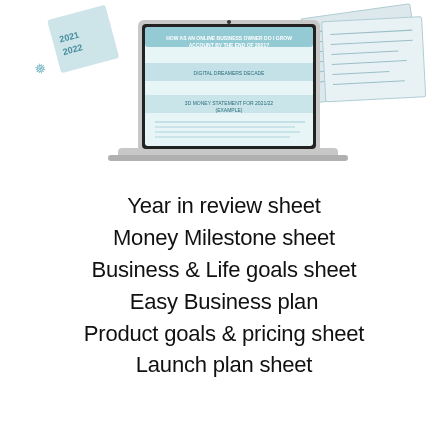[Figure (illustration): Laptop computer displaying financial planning worksheets, with printed document pages fanned out to the right and a decorative element with '2021 2022' text to the upper left. The laptop screen shows teal-colored worksheet pages with headings about money goals and statements.]
Year in review sheet
Money Milestone sheet
Business & Life goals sheet
Easy Business plan
Product goals & pricing sheet
Launch plan sheet